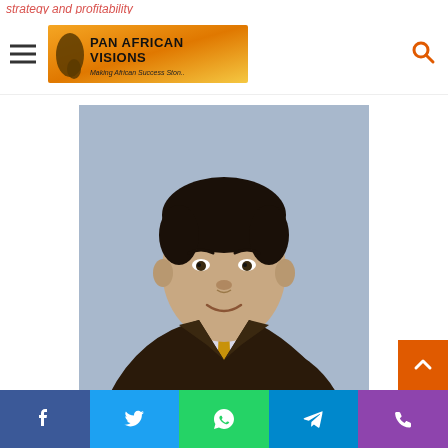strategy and profitability
[Figure (logo): Pan African Visions logo with orange/yellow gradient background and Africa silhouette]
[Figure (photo): Professional headshot of Ahmad Farroukh, a middle-aged man in a dark suit with an orange/gold tie, against a blue-grey background]
Ahmad Farroukh, Smile Telecoms Holdings Ltd Executive Director
Social sharing buttons: Facebook, Twitter, WhatsApp, Telegram, Phone